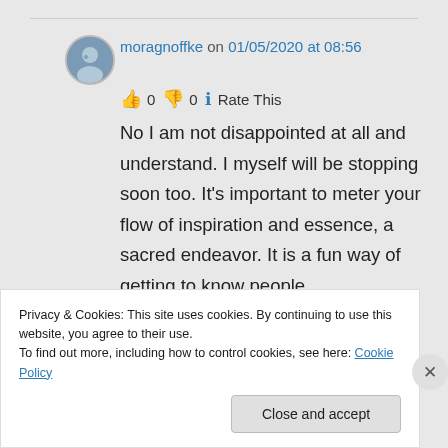moragnoffke on 01/05/2020 at 08:56
👍 0 👎 0 ℹ Rate This
No I am not disappointed at all and understand. I myself will be stopping soon too. It's important to meter your flow of inspiration and essence, a sacred endeavor. It is a fun way of getting to know people
Privacy & Cookies: This site uses cookies. By continuing to use this website, you agree to their use.
To find out more, including how to control cookies, see here: Cookie Policy
Close and accept